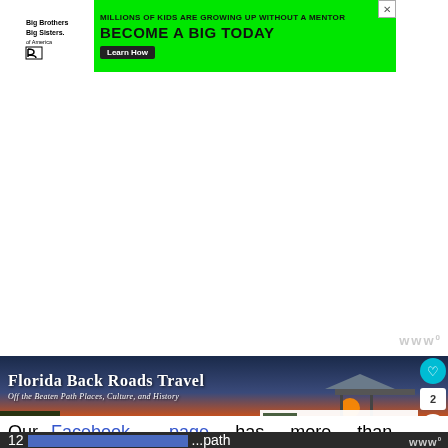[Figure (screenshot): Big Brothers Big Sisters of America advertisement banner with green background. Text reads: MILLIONS OF KIDS ARE GROWING UP WITHOUT A MENTOR / BECOME A BIG TODAY / Learn How]
[Figure (screenshot): White space area with Weave logo watermark in lower right corner, appears to be an advertisement placeholder]
[Figure (screenshot): Florida Back Roads Travel website header image showing a sunset over water with a dock/gazebo. Text overlay: 'Florida Back Roads Travel' and 'Off the Beaten Path Places, Culture, and History'. Social buttons: heart (favorites), share count 2, share button. 'WHAT'S NEXT → Hernando Beach, Florida' in bottom right corner.]
Our Facebook page has more than 12... ...path